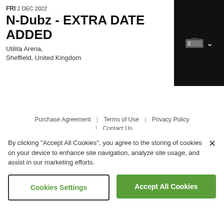FRI 2 DEC 2022
N-Dubz - EXTRA DATE ADDED
Utilita Arena,
Sheffield, United Kingdom
Purchase Agreement | Terms of Use | Privacy Policy | Contact Us
© 2011-2022 AXS. All rights reserved.
By clicking "Accept All Cookies", you agree to the storing of cookies on your device to enhance site navigation, analyze site usage, and assist in our marketing efforts.